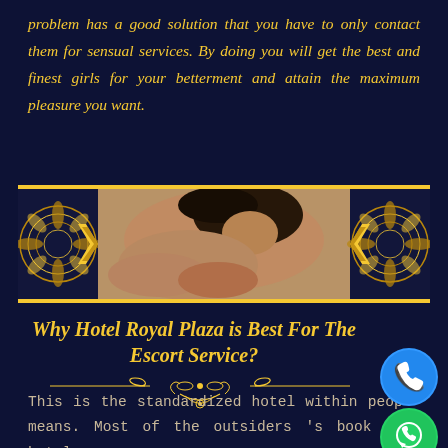problem has a good solution that you have to only contact them for sensual services. By doing you will get the best and finest girls for your betterment and attain the maximum pleasure you want.
[Figure (photo): Decorative banner with ornamental gold patterns on sides and a photo of a woman in the center]
Why Hotel Royal Plaza is Best For The Escort Service?
[Figure (illustration): Decorative gold divider with scroll and floral ornament]
This is the standardized hotel within people means. Most of the outsiders 's book this hotel
[Figure (illustration): Phone call icon - blue circle with white phone handset]
[Figure (illustration): WhatsApp icon - green circle with white WhatsApp logo]